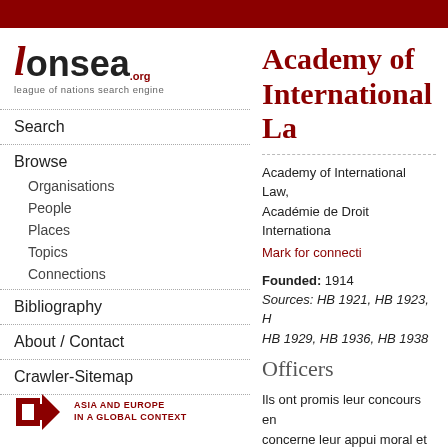[Figure (logo): lonsea.org - League of Nations Search Engine logo with stylized red V and dark text]
Search
Browse
Organisations
People
Places
Topics
Connections
Bibliography
About / Contact
Crawler-Sitemap
[Figure (logo): Asia and Europe in a Global Context logo with red arrow icon]
Academy of International La
Academy of International Law, Académie de Droit Internationa
Mark for connecti
Founded: 1914
Sources: HB 1921, HB 1923, H HB 1929, HB 1936, HB 1938
Officers
Ils ont promis leur concours en concerne leur appui moral et l'e d'auditeurs à La Haye pour ass cours de l'Académie., Presiden Conseil d'Administration : M. le Jonkheer A. P. C. van Karnebe ministre d'Etat, et quatre autres